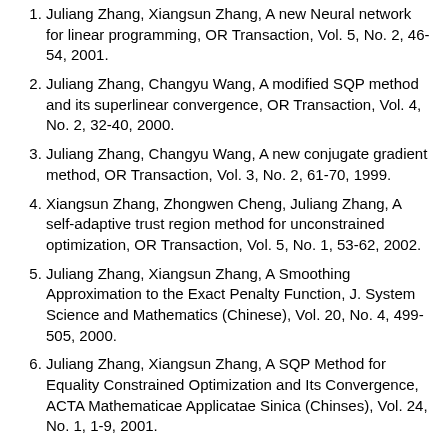Juliang Zhang, Xiangsun Zhang, A new Neural network for linear programming, OR Transaction, Vol. 5, No. 2, 46-54, 2001.
Juliang Zhang, Changyu Wang, A modified SQP method and its superlinear convergence, OR Transaction, Vol. 4, No. 2, 32-40, 2000.
Juliang Zhang, Changyu Wang, A new conjugate gradient method, OR Transaction, Vol. 3, No. 2, 61-70, 1999.
Xiangsun Zhang, Zhongwen Cheng, Juliang Zhang, A self-adaptive trust region method for unconstrained optimization, OR Transaction, Vol. 5, No. 1, 53-62, 2002.
Juliang Zhang, Xiangsun Zhang, A Smoothing Approximation to the Exact Penalty Function, J. System Science and Mathematics (Chinese), Vol. 20, No. 4, 499-505, 2000.
Juliang Zhang, Xiangsun Zhang, A SQP Method for Equality Constrained Optimization and Its Convergence, ACTA Mathematicae Applicatae Sinica (Chinses), Vol. 24, No. 1, 1-9, 2001.
Juliang Zhang, Xiangsun Zhang, A Quasi-Newton--Trust Region Method for Equality Constrained Optimization Its Convergence Properties, OR Transaction, Vol. 5, No. 4, 72-80, 2001.